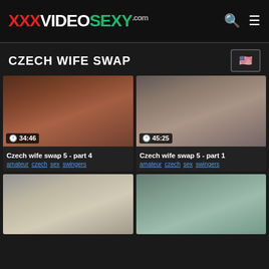XXXVIDEOSEXY.com
CZECH WIFE SWAP
[Figure (screenshot): Video thumbnail for Czech wife swap 5 - part 4, duration 34:46]
Czech wife swap 5 - part 4
amateur czech sex swingers
[Figure (screenshot): Video thumbnail for Czech wife swap 5 - part 1, duration 45:25]
Czech wife swap 5 - part 1
amateur czech sex swingers
[Figure (screenshot): Video thumbnail, bottom left, Czech wife swap entry]
[Figure (screenshot): Video thumbnail, bottom right, Czech wife swap entry]